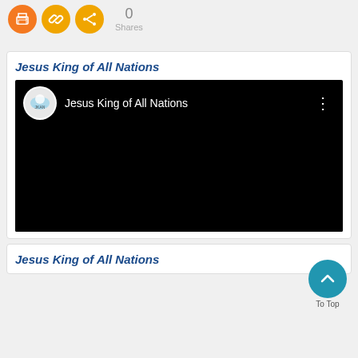[Figure (screenshot): Three circular icon buttons (print, link, share) in orange/gold colors, with share count showing 0 Shares]
0
Shares
Jesus King of All Nations
[Figure (screenshot): YouTube video embed showing black video player with channel avatar, title 'Jesus King of All Nations', and three-dot menu]
Jesus King of All Nations